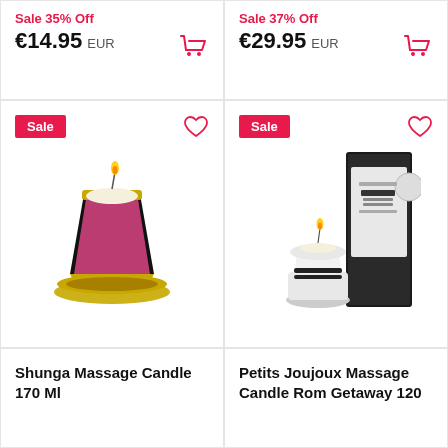Sale 35% Off
€14.95 EUR
Sale 37% Off
€29.95 EUR
[Figure (photo): Shunga massage candle in pink decorative cup with gold base, lit, Sale badge and heart icon]
[Figure (photo): Petits Joujoux massage candle in white ceramic holder with black stripes, with product box, Sale badge and heart icon]
Shunga Massage Candle 170 Ml
Petits Joujoux Massage Candle Rom Getaway 120